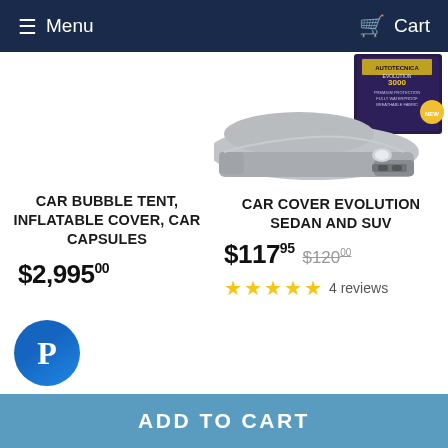Menu   Cart
[Figure (photo): Product image of car cover (Evolution 3000) draped over a silver BMW, with product box visible in background (AUTOTECNICA EVOLUTION 3000 branding)]
CAR BUBBLE TENT, INFLATABLE COVER, CAR CAPSULES
CAR COVER EVOLUTION SEDAN AND SUV
$2,995.00
$117.95  $120.00
4 reviews
ADD TO CART